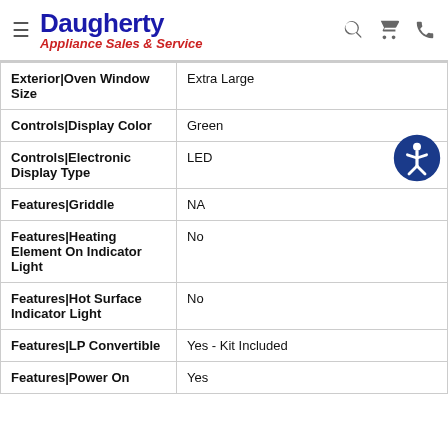Daugherty Appliance Sales & Service
| Feature | Value |
| --- | --- |
| Exterior|Oven Window Size | Extra Large |
| Controls|Display Color | Green |
| Controls|Electronic Display Type | LED |
| Features|Griddle | NA |
| Features|Heating Element On Indicator Light | No |
| Features|Hot Surface Indicator Light | No |
| Features|LP Convertible | Yes - Kit Included |
| Features|Power On | Yes |